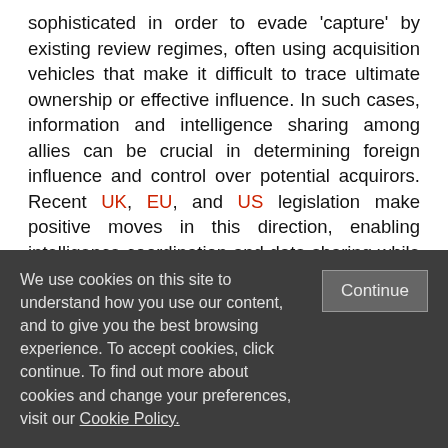sophisticated in order to evade 'capture' by existing review regimes, often using acquisition vehicles that make it difficult to trace ultimate ownership or effective influence. In such cases, information and intelligence sharing among allies can be crucial in determining foreign influence and control over potential acquirors. Recent UK, EU, and US legislation make positive moves in this direction, enabling intelligence coordination and data sharing while establishing lines of communication. Designated experienced points of contact among allied states will be needed, requiring investment in time and resources. Exchange programs between personnel of allied review regimes may also be useful for training, establishing trust, and building relationships.
We use cookies on this site to understand how you use our content, and to give you the best browsing experience. To accept cookies, click continue. To find out more about cookies and change your preferences, visit our Cookie Policy.